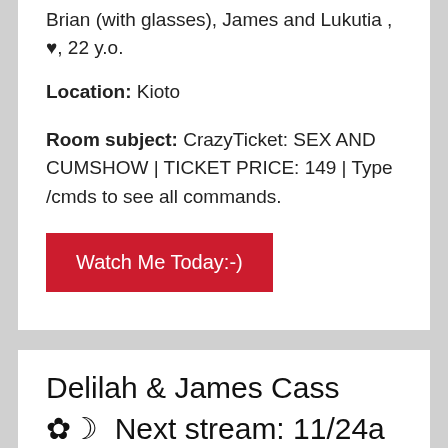Brian (with glasses), James and Lukutia , ♥, 22 y.o.
Location: Kioto
Room subject: CrazyTicket: SEX AND CUMSHOW | TICKET PRICE: 149 | Type /cmds to see all commands.
Watch Me Today:-)
Delilah & James Cass ✿☾  Next stream: 11/24a
Posted on November 26, 2021
Delilah & James Cass ✿☾  Next stream: 11/24a